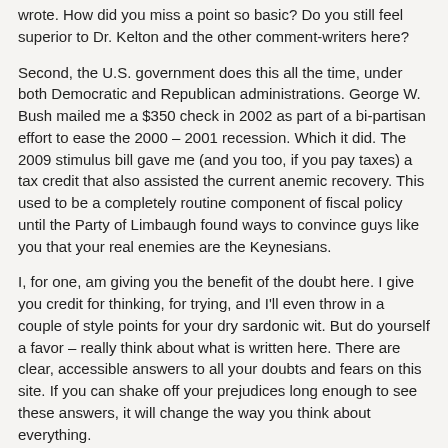wrote. How did you miss a point so basic? Do you still feel superior to Dr. Kelton and the other comment-writers here?
Second, the U.S. government does this all the time, under both Democratic and Republican administrations. George W. Bush mailed me a $350 check in 2002 as part of a bi-partisan effort to ease the 2000 – 2001 recession. Which it did. The 2009 stimulus bill gave me (and you too, if you pay taxes) a tax credit that also assisted the current anemic recovery. This used to be a completely routine component of fiscal policy until the Party of Limbaugh found ways to convince guys like you that your real enemies are the Keynesians.
I, for one, am giving you the benefit of the doubt here. I give you credit for thinking, for trying, and I'll even throw in a couple of style points for your dry sardonic wit. But do yourself a favor – really think about what is written here. There are clear, accessible answers to all your doubts and fears on this site. If you can shake off your prejudices long enough to see these answers, it will change the way you think about everything.
Good luck.
econobuzz